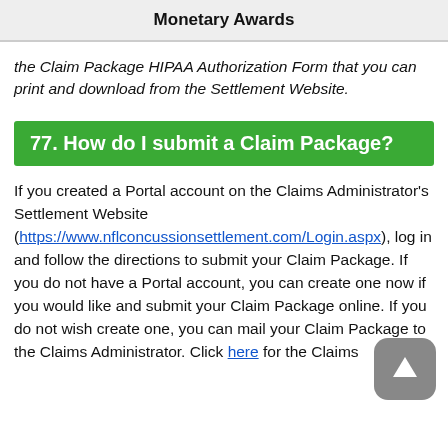Monetary Awards
the Claim Package HIPAA Authorization Form that you can print and download from the Settlement Website.
77. How do I submit a Claim Package?
If you created a Portal account on the Claims Administrator's Settlement Website (https://www.nflconcussionsettlement.com/Login.aspx), log in and follow the directions to submit your Claim Package. If you do not have a Portal account, you can create one now if you would like and submit your Claim Package online. If you do not wish create one, you can mail your Claim Package to the Claims Administrator. Click here for the Claims